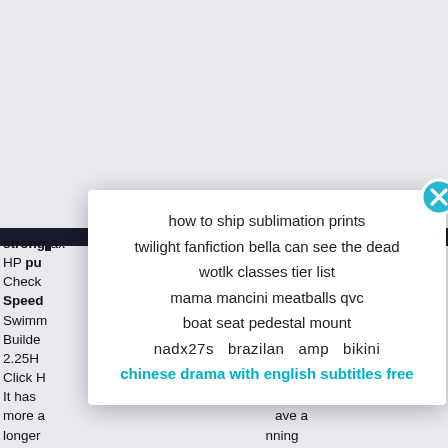[Figure (screenshot): A modal/popup dialog box overlaying a web page. The popup contains a list of search query links and a close button (X) in the top right corner styled in teal/cyan. The background page shows partial text about pool pumps (Pentair Intelliflo VS 3050).]
how to ship sublimation prints
twi light fanfiction bella can see the dead
wotlk classes tier list
mama mancini meatballs qvc
boat seat pedestal mount
nadx27s  brazilan  amp  bikini
chinese drama with english subtitles free
strong ... ax HP pu... Check... le Speed Swimm... rams. Builde... ar XE 2.25H... 0XE; Click H... It has ... or more a... ave a longer... nning at lower speeds is less taxing on them, leading to increased operating life. Heat is the primary enemy of most motor components. Pentair Intelliflo VS 3050 Features. Typically slashes energy costs up to 30% or more. The Pentair 4x160 is easy to program and operate. Offers ultra-quiet operation ... just 7-10 decibels or half a human whisper. Operates at the minimum speed required for unmatched longevity. Compatible with other pool